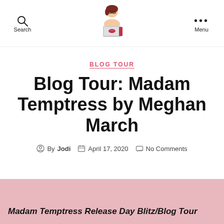Search | [logo] | Menu
BLOG TOUR
Blog Tour: Madam Temptress by Meghan March
By Jodi  April 17, 2020  No Comments
Madam Temptress Release Day Blitz/Blog Tour